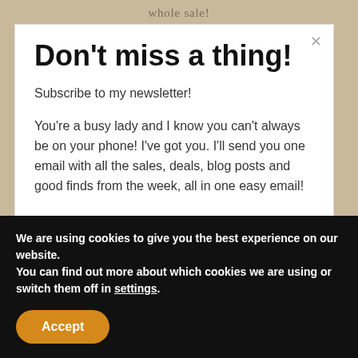whole sale!
Don't miss a thing!
Subscribe to my newsletter!
You're a busy lady and I know you can't always be on your phone! I've got you. I'll send you one email with all the sales, deals, blog posts and good finds from the week, all in one easy email!
First name
We are using cookies to give you the best experience on our website.
You can find out more about which cookies we are using or switch them off in settings.
Accept